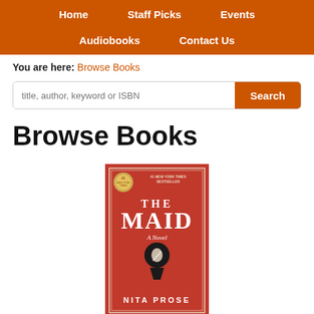Home | Staff Picks | Events | Audiobooks | Contact Us
You are here: Browse Books
[Figure (screenshot): Search bar with placeholder text 'title, author, keyword or ISBN' and an orange Search button]
Browse Books
[Figure (photo): Book cover of 'The Maid: A Novel' by Nita Prose — red cover with a keyhole and maid silhouette]
The Maid: A Novel (Hardcover)